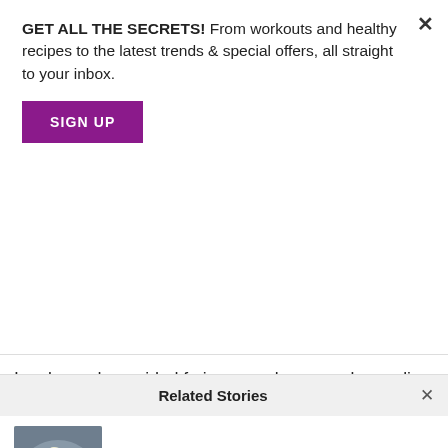GET ALL THE SECRETS! From workouts and healthy recipes to the latest trends & special offers, all straight to your inbox.
SIGN UP
Broccoli & salmon oven omelette
In a large deep-sided frying pan place your broccoli, pre-cooked salmon fillets, asparagus, red, green and yellow peppers. In a jug, break eight medium eggs, and mix with 1 tbsp onion salt, 1 tbsp garlic salt, 2 cups almond milk, 1 tsp fenugreek and 1 tsp of
Related Stories
Healthy Foods to Avoid Before Your Workout